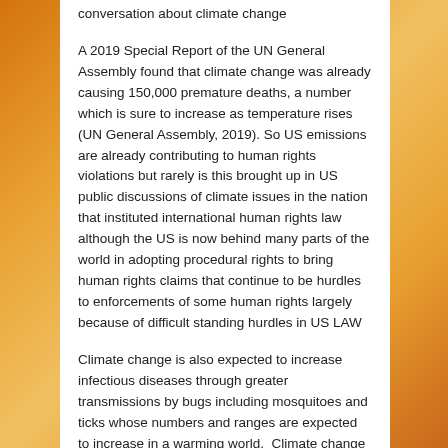conversation about climate change
A 2019 Special Report of the UN General Assembly found that climate change was already causing 150,000 premature deaths, a number which is sure to increase as temperature rises (UN General Assembly, 2019). So US emissions are already contributing to human rights violations but rarely is this brought up in US public discussions of climate issues in the nation that instituted international human rights law although the US is now behind many parts of the world in adopting procedural rights to bring human rights claims that continue to be hurdles to enforcements of some human rights largely because of difficult standing hurdles in US LAW
Climate change is also expected to increase infectious diseases through greater transmissions by bugs including mosquitoes and ticks whose numbers and ranges are expected to increase in a warming world. Climate change is also expected to cause numerous other health problems and deaths to the world's population in many additional ways including the increase in pandemics and